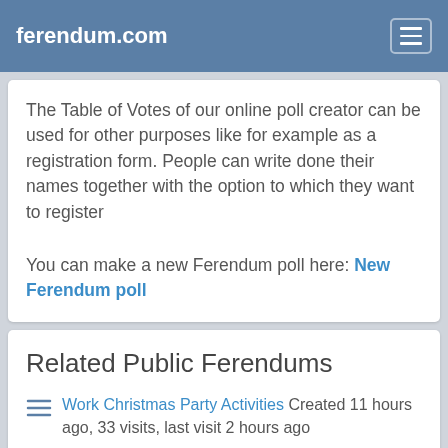ferendum.com
The Table of Votes of our online poll creator can be used for other purposes like for example as a registration form. People can write done their names together with the option to which they want to register
You can make a new Ferendum poll here: New Ferendum poll
Related Public Ferendums
Work Christmas Party Activities Created 11 hours ago, 33 visits, last visit 2 hours ago